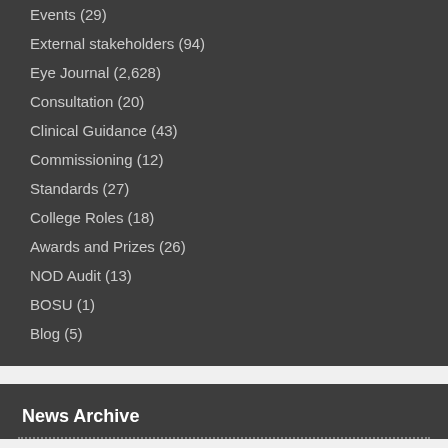Events (29)
External stakeholders (94)
Eye Journal (2,628)
Consultation (20)
Clinical Guidance (43)
Commissioning (12)
Standards (27)
College Roles (18)
Awards and Prizes (26)
NOD Audit (13)
BOSU (1)
Blog (5)
News Archive